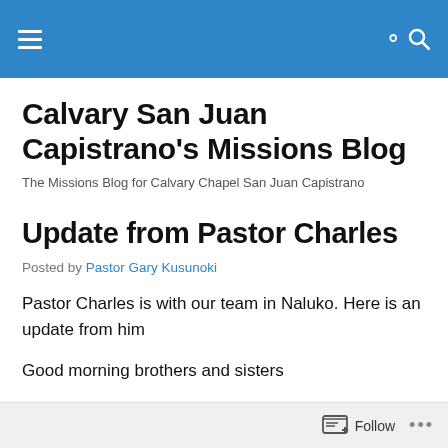Calvary San Juan Capistrano's Missions Blog — navigation bar
Calvary San Juan Capistrano's Missions Blog
The Missions Blog for Calvary Chapel San Juan Capistrano
Update from Pastor Charles
Posted by Pastor Gary Kusunoki
Pastor Charles is with our team in Naluko. Here is an update from him
Good morning brothers and sisters
Follow